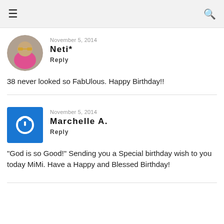≡  🔍
November 5, 2014
Neti*
Reply
38 never looked so FabUlous. Happy Birthday!!
November 5, 2014
Marchelle A.
Reply
"God is so Good!" Sending you a Special birthday wish to you today MiMi. Have a Happy and Blessed Birthday!